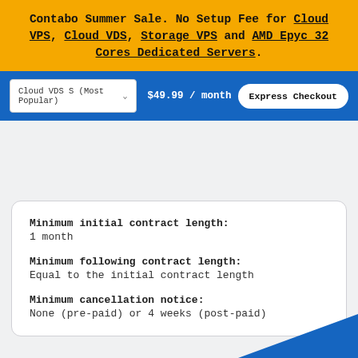Contabo Summer Sale. No Setup Fee for Cloud VPS, Cloud VDS, Storage VPS and AMD Epyc 32 Cores Dedicated Servers.
Cloud VDS S (Most Popular)  $49.99 / month  Express Checkout
Minimum initial contract length: 1 month
Minimum following contract length: Equal to the initial contract length
Minimum cancellation notice: None (pre-paid) or 4 weeks (post-paid)